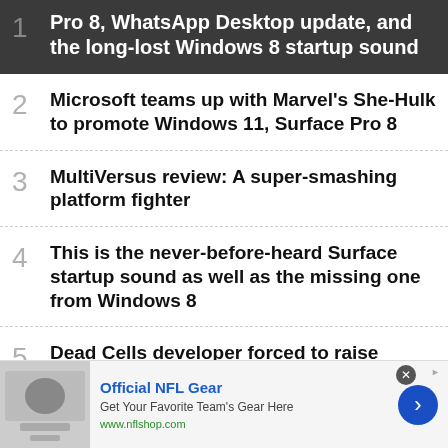1. Pro 8, WhatsApp Desktop update, and the long-lost Windows 8 startup sound
2. Microsoft teams up with Marvel's She-Hulk to promote Windows 11, Surface Pro 8
3. MultiVersus review: A super-smashing platform fighter
4. This is the never-before-heard Surface startup sound as well as the missing one from Windows 8
5. Dead Cells developer forced to raise prices due to abuse of Steam PC's regional pricing structure
[Figure (infographic): Advertisement banner for Official NFL Gear with logo image, blue title text, gray subtitle, green URL, close button, and blue arrow button]